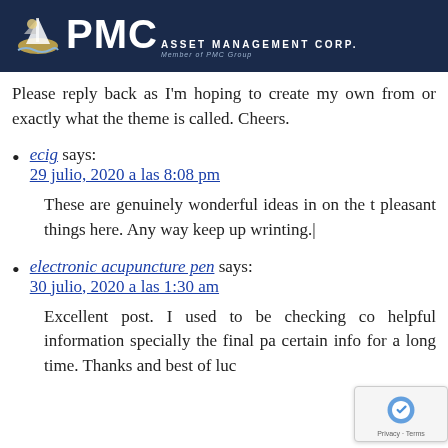[Figure (logo): PMC Asset Management Corp logo with ship icon on dark navy background. 'PMC' in large bold white letters, 'ASSET MANAGEMENT CORP.' in smaller caps, 'Member of PMC Group' in small italic text below.]
Please reply back as I'm hoping to create my own from or exactly what the theme is called. Cheers.
ecig says:
29 julio, 2020 a las 8:08 pm
These are genuinely wonderful ideas in on the t pleasant things here. Any way keep up wrinting.|
electronic acupuncture pen says:
30 julio, 2020 a las 1:30 am
Excellent post. I used to be checking co helpful information specially the final pa certain info for a long time. Thanks and best of luc